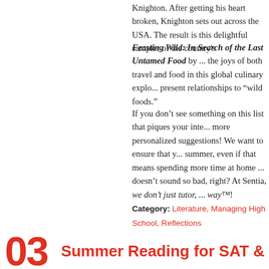Knighton. After getting his heart broken, Knighton sets out across the USA. The result is this delightful sampler of the country's
Feasting Wild: In Search of the Last Untamed Food by ... the joys of both travel and food in this global culinary exploration of past and present relationships to “wild foods.”
If you don’t see something on this list that piques your interest, ask us for more personalized suggestions! We want to ensure that you have a great summer, even if that means spending more time at home with a book. That doesn’t sound so bad, right? At Sentia, we don’t just tutor, we educate your way™!
Category: Literature, Managing High School, Reflections
Tags: Literature, Reading List, Summer Reading
03 | Summer Reading for SAT & ACT